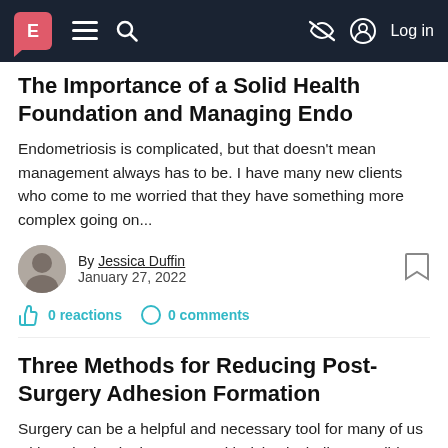E [menu] [search] [no-image icon] Log in
The Importance of a Solid Health Foundation and Managing Endo
Endometriosis is complicated, but that doesn't mean management always has to be. I have many new clients who come to me worried that they have something more complex going on...
By Jessica Duffin
January 27, 2022
0 reactions  0 comments
Three Methods for Reducing Post-Surgery Adhesion Formation
Surgery can be a helpful and necessary tool for many of us with endo, but it also comes with risks, including possible nerve damage or hypersensitivity, and adhesion formation.1Adhesions are...